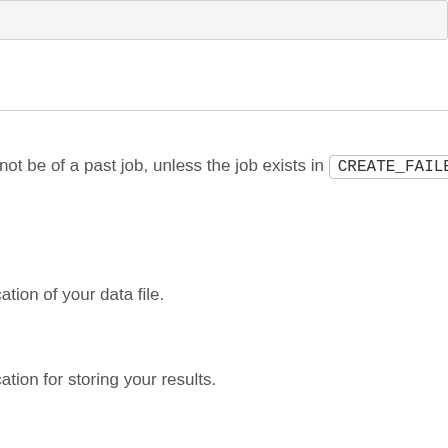[Figure (screenshot): A UI input box or form field at the top of the page, with a light gray background and border.]
annot be of a past job, unless the job exists in CREATE_FAILED
location of your data file.
location for storing your results.